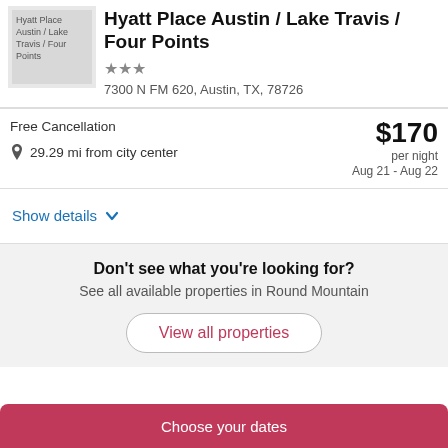[Figure (photo): Thumbnail image placeholder for Hyatt Place Austin / Lake Travis / Four Points hotel]
Hyatt Place Austin / Lake Travis / Four Points
★★★
7300 N FM 620, Austin, TX, 78726
Free Cancellation
$170
per night
Aug 21 - Aug 22
29.29 mi from city center
Show details
Don't see what you're looking for?
See all available properties in Round Mountain
View all properties
Choose your dates